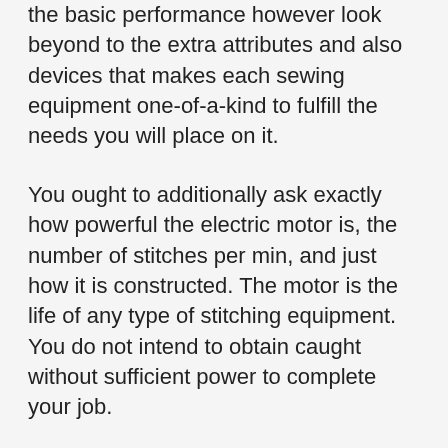the basic performance however look beyond to the extra attributes and also devices that makes each sewing equipment one-of-a-kind to fulfill the needs you will place on it.
You ought to additionally ask exactly how powerful the electric motor is, the number of stitches per min, and just how it is constructed. The motor is the life of any type of stitching equipment. You do not intend to obtain caught without sufficient power to complete your job.
Every stitching machine will have some plastic on the outside. However, if you are going to sew quite a bit, you need to take a look at the indoor framework and also